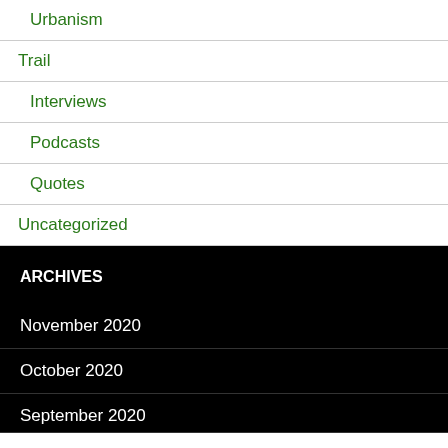Urbanism
Trail
Interviews
Podcasts
Quotes
Uncategorized
ARCHIVES
November 2020
October 2020
September 2020